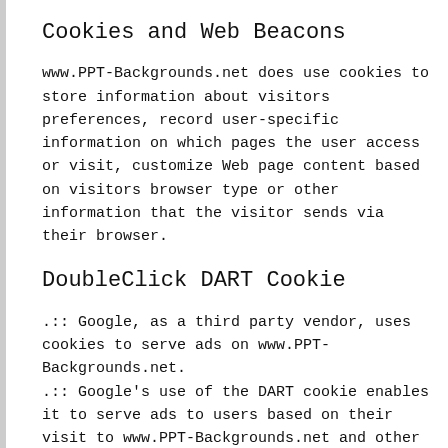Cookies and Web Beacons
www.PPT-Backgrounds.net does use cookies to store information about visitors preferences, record user-specific information on which pages the user access or visit, customize Web page content based on visitors browser type or other information that the visitor sends via their browser.
DoubleClick DART Cookie
.::: Google, as a third party vendor, uses cookies to serve ads on www.PPT-Backgrounds.net.
.::: Google's use of the DART cookie enables it to serve ads to users based on their visit to www.PPT-Backgrounds.net and other sites on the Internet.
.::: Users may opt out of the use of the DART cookie by visiting the Google ad and content network privacy policy at the following URL –